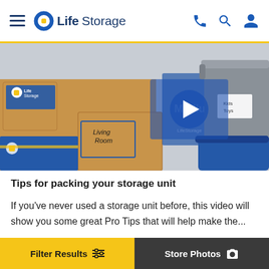Life Storage navigation header with logo, hamburger menu, phone, search, and account icons
[Figure (screenshot): Video thumbnail showing stacked Life Storage branded cardboard boxes labeled 'Living Room' and a gray plastic storage bin labeled 'Kids Toys', with a blue semi-transparent play button overlay and 'Medium' text in background]
Tips for packing your storage unit
If you've never used a storage unit before, this video will show you some great Pro Tips that will help make the...
Filter Results     Store Photos